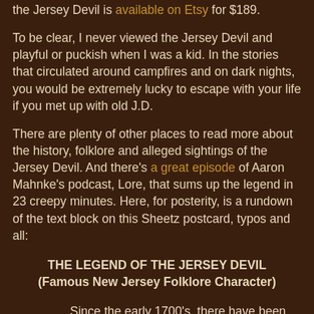the Jersey Devil is available on Etsy for $189.
To be clear, I never viewed the Jersey Devil and playful or puckish when I was a kid. In the stories that circulated around campfires and on dark nights, you would be extremely lucky to escape with your life if you met up with old J.D.
There are plenty of other places to read more about the history, folklore and alleged sightings of the Jersey Devil. And there's a great episode of Aaron Mahnke's podcast, Lore, that sums up the legend in 23 creepy minutes. Here, for posterity, is a rundown of the text block on this Sheetz postcard, typos and all:
THE LEGEND OF THE JERSEY DEVIL
(Famous New Jersey Folklore Character)
Since the early 1700's, there have been many accounts of the "Jersey" or "Leeds Devil". Descriptions vary from "horsefaced" to "collie faced" - from a large furry creature of a reddish